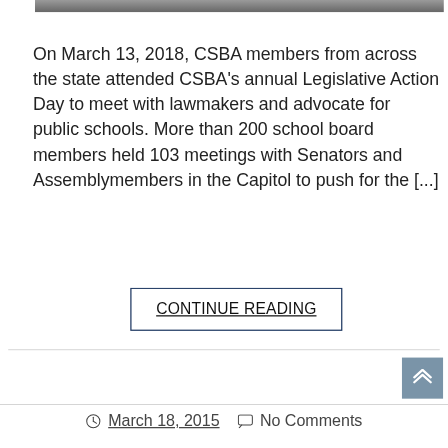[Figure (photo): Top portion of a group photo, cropped — people visible from shoulders/chest up against a grey background.]
On March 13, 2018, CSBA members from across the state attended CSBA's annual Legislative Action Day to meet with lawmakers and advocate for public schools. More than 200 school board members held 103 meetings with Senators and Assemblymembers in the Capitol to push for the [...]
CONTINUE READING
March 18, 2015   No Comments